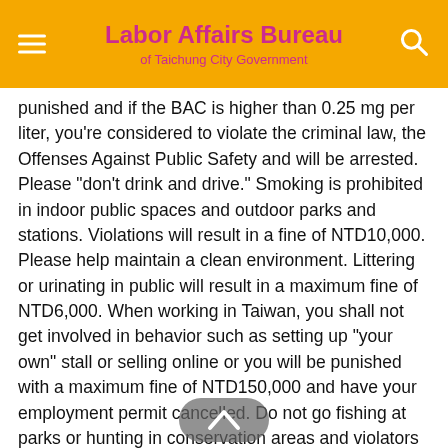Labor Affairs Bureau of Taichung City Government
punished and if the BAC is higher than 0.25 mg per liter, you’re considered to violate the criminal law, the Offenses Against Public Safety and will be arrested. Please “don’t drink and drive.” Smoking is prohibited in indoor public spaces and outdoor parks and stations. Violations will result in a fine of NTD10,000. Please help maintain a clean environment. Littering or urinating in public will result in a maximum fine of NTD6,000. When working in Taiwan, you shall not get involved in behavior such as setting up “your own” stall or selling online or you will be punished with a maximum fine of NTD150,000 and have your employment permit cancelled. Do not go fishing at parks or hunting in conservation areas and violators will be imposed fines according to relevant rules and regulations (for example, the fine of NTD250,000 will be imposed for catching crabs at Gaomei Wetlands). For the 24-hour counselling and protection hotline for foreign workers of Workforce Development Agency, Ministry of Labor,